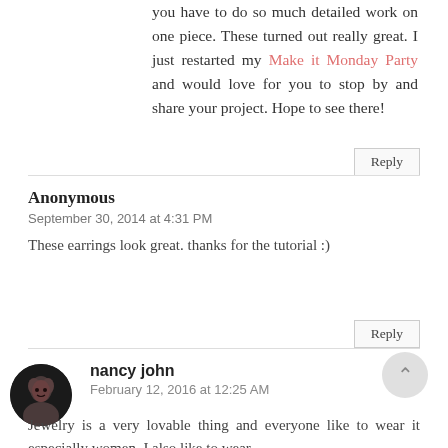you have to do so much detailed work on one piece. These turned out really great. I just restarted my Make it Monday Party and would love for you to stop by and share your project. Hope to see there!
Reply
Anonymous
September 30, 2014 at 4:31 PM
These earrings look great. thanks for the tutorial :)
Reply
nancy john
February 12, 2016 at 12:25 AM
Jewelry is a very lovable thing and everyone like to wear it especially women. I also like to wear